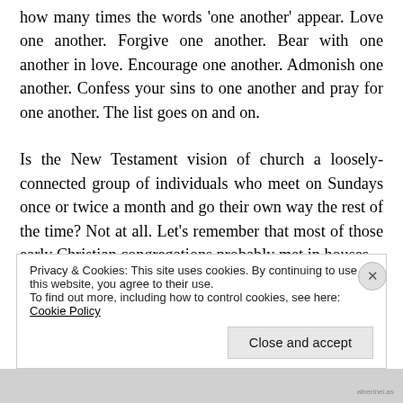how many times the words 'one another' appear. Love one another. Forgive one another. Bear with one another in love. Encourage one another. Admonish one another. Confess your sins to one another and pray for one another. The list goes on and on.

Is the New Testament vision of church a loosely-connected group of individuals who meet on Sundays once or twice a month and go their own way the rest of the time? Not at all. Let's remember that most of those early Christian congregations probably met in houses.
Privacy & Cookies: This site uses cookies. By continuing to use this website, you agree to their use.
To find out more, including how to control cookies, see here: Cookie Policy
Close and accept